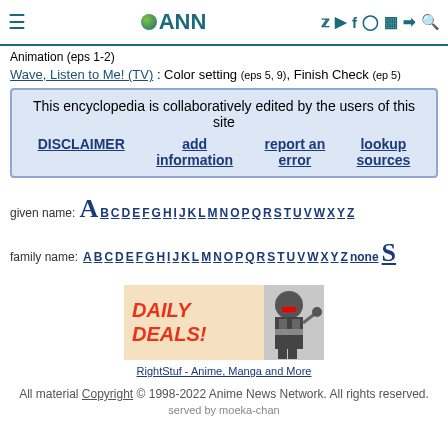ANN - Anime News Network
Animation (eps 1-2)
Wave, Listen to Me! (TV) : Color setting (eps 5, 9), Finish Check (ep 5)
| This encyclopedia is collaboratively edited by the users of this site |
| DISCLAIMER | add information | report an error | lookup sources |
given name: A B C D E F G H I J K L M N O P Q R S T U V W X Y Z
family name: A B C D E F G H I J K L M N O P Q R S T U V W X Y Z none
[Figure (illustration): Daily Deals banner ad with ninja character and RightStuf - Anime, Manga and More link]
All material Copyright © 1998-2022 Anime News Network. All rights reserved. served by moeka-chan